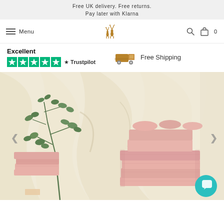Free UK delivery. Free returns.
Pay later with Klarna
Menu
Excellent
★★★★★ Trustpilot
Free Shipping
[Figure (photo): Product lifestyle photo showing stacked pink bath towels and folded pink bed sheets against a cream draped fabric background with eucalyptus plant]